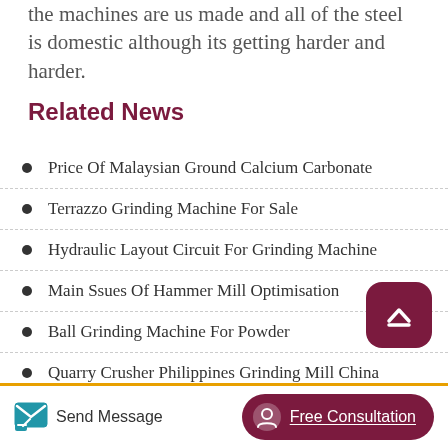the machines are us made and all of the steel is domestic although its getting harder and harder.
Related News
Price Of Malaysian Ground Calcium Carbonate
Terrazzo Grinding Machine For Sale
Hydraulic Layout Circuit For Grinding Machine
Main Ssues Of Hammer Mill Optimisation
Ball Grinding Machine For Powder
Quarry Crusher Philippines Grinding Mill China
Send Message | Free Consultation